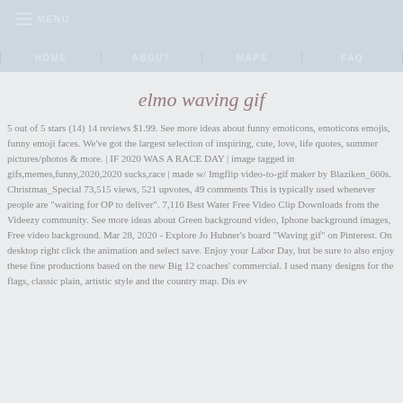MENU | HOME | ABOUT | MAPS | FAQ
elmo waving gif
5 out of 5 stars (14) 14 reviews $1.99. See more ideas about funny emoticons, emoticons emojis, funny emoji faces. We've got the largest selection of inspiring, cute, love, life quotes, summer pictures/photos & more. | IF 2020 WAS A RACE DAY | image tagged in gifs,memes,funny,2020,2020 sucks,race | made w/ Imgflip video-to-gif maker by Blaziken_660s. Christmas_Special 73,515 views, 521 upvotes, 49 comments This is typically used whenever people are 'waiting for OP to deliver'. 7,116 Best Water Free Video Clip Downloads from the Videezy community. See more ideas about Green background video, Iphone background images, Free video background. Mar 28, 2020 - Explore Jo Hubner's board 'Waving gif' on Pinterest. On desktop right click the animation and select save. Enjoy your Labor Day, but be sure to also enjoy these fine productions based on the new Big 12 coaches' commercial. I used many designs for the flags, classic plain, artistic style and the country map. Dis ev